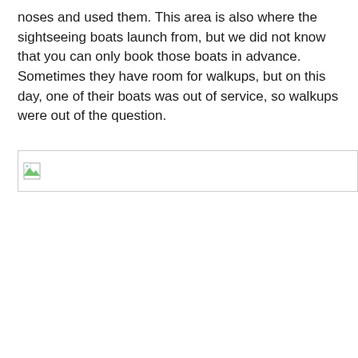noses and used them. This area is also where the sightseeing boats launch from, but we did not know that you can only book those boats in advance. Sometimes they have room for walkups, but on this day, one of their boats was out of service, so walkups were out of the question.
[Figure (photo): Broken image placeholder (image failed to load)]